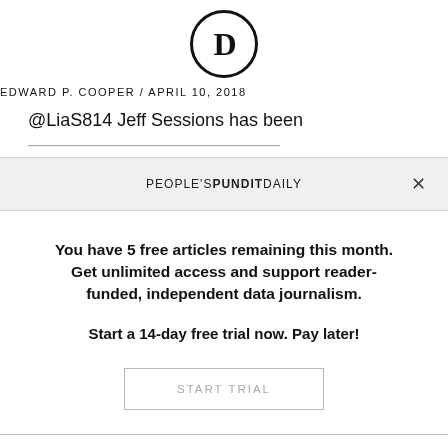[Figure (logo): Circular logo with letter D inside]
EDWARD P. COOPER / APRIL 10, 2018
@LiaS814 Jeff Sessions has been
PEOPLE'S PUNDIT DAILY
You have 5 free articles remaining this month. Get unlimited access and support reader-funded, independent data journalism.
Start a 14-day free trial now. Pay later!
START TRIAL
SUBSCRIBE
SIGN IN